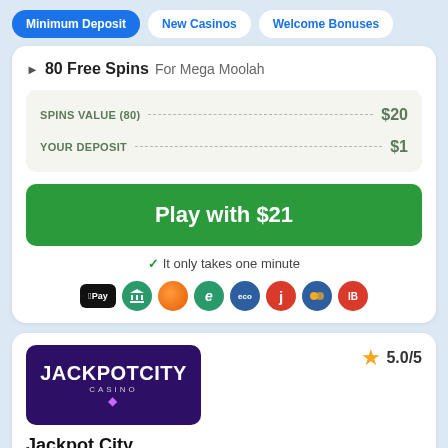Minimum Deposit
New Casinos
Welcome Bonuses
80 Free Spins For Mega Moolah
|  |  |
| --- | --- |
| SPINS VALUE (80) | $20 |
| YOUR DEPOSIT | $1 |
Play with $21
✓ It only takes one minute
[Figure (logo): JackpotCity Casino logo — white text on dark purple background with pink diamond graphic]
5.0/5
Jackpot City